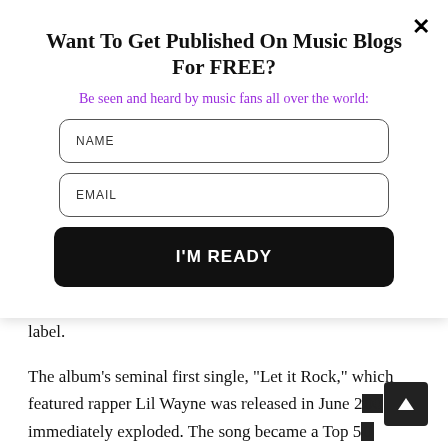Want To Get Published On Music Blogs For FREE?
Be seen and heard by music fans all over the world:
[Figure (screenshot): Modal popup with NAME input field, EMAIL input field, and I'M READY button]
label.
The album’s seminal first single, “Let it Rock,” which featured rapper Lil Wayne was released in June 2[...] and immediately exploded. The song became a Top 5 [...] around the world, going on to sell over 5 million singles